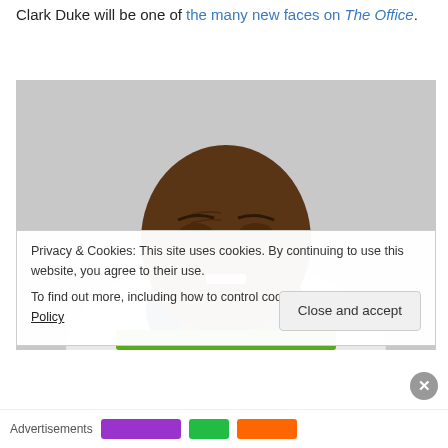Clark Duke will be one of the many new faces on The Office.
[Figure (photo): A man with eyes closed, smiling, wearing a white jacket with a green and white item visible at bottom]
Privacy & Cookies: This site uses cookies. By continuing to use this website, you agree to their use.
To find out more, including how to control cookies, see here: Cookie Policy
Close and accept
Advertisements